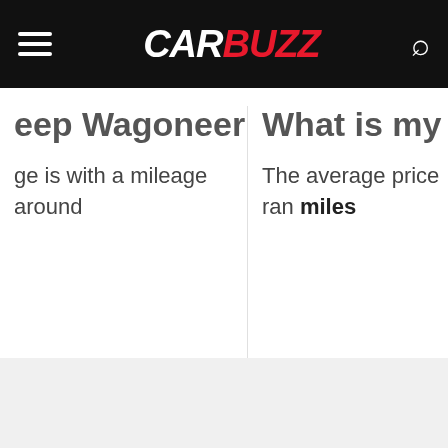CARBUZZ
eep Wagoneer worth?
ge is with a mileage around
What is my 1984 J
The average price ran miles